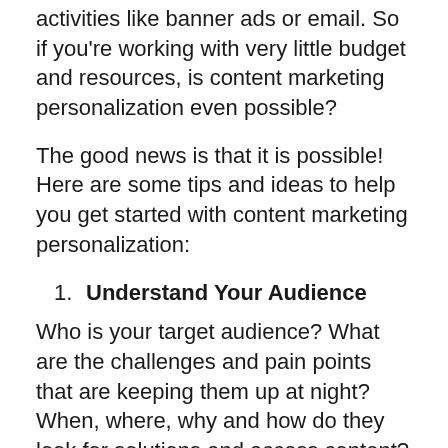activities like banner ads or email. So if you're working with very little budget and resources, is content marketing personalization even possible?
The good news is that it is possible! Here are some tips and ideas to help you get started with content marketing personalization:
Understand Your Audience
Who is your target audience? What are the challenges and pain points that are keeping them up at night? When, where, why and how do they look for solutions and access content?
Conducting external research and competitive analysis will help you learn more about your prospects, but you'll also want to leverage the